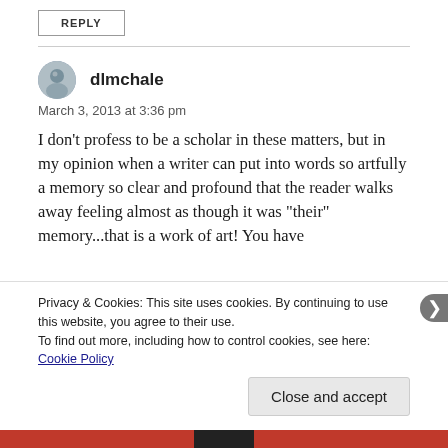REPLY
dlmchale
March 3, 2013 at 3:36 pm
I don't profess to be a scholar in these matters, but in my opinion when a writer can put into words so artfully a memory so clear and profound that the reader walks away feeling almost as though it was "their" memory...that is a work of art! You have
Privacy & Cookies: This site uses cookies. By continuing to use this website, you agree to their use.
To find out more, including how to control cookies, see here: Cookie Policy
Close and accept